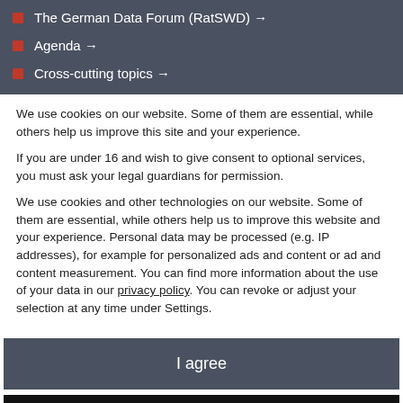The German Data Forum (RatSWD) →
Agenda →
Cross-cutting topics →
We use cookies on our website. Some of them are essential, while others help us improve this site and your experience.
If you are under 16 and wish to give consent to optional services, you must ask your legal guardians for permission.
We use cookies and other technologies on our website. Some of them are essential, while others help us to improve this website and your experience. Personal data may be processed (e.g. IP addresses), for example for personalized ads and content or ad and content measurement. You can find more information about the use of your data in our privacy policy. You can revoke or adjust your selection at any time under Settings.
I agree
Individual privacy settings